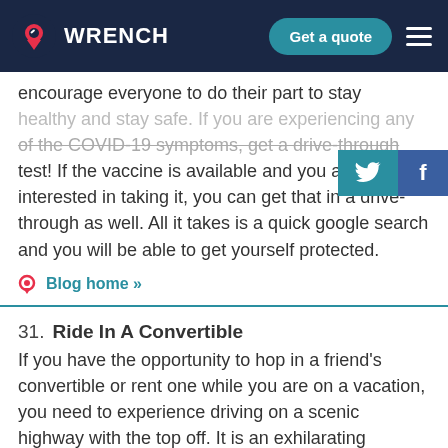WRENCH | Get a quote
encourage everyone to do their part to stay healthy and stay safe. If you are experiencing any of the COVID-19 symptoms, get a drive-through test! If the vaccine is available and you are interested in taking it, you can get that in a drive-through as well. All it takes is a quick google search and you will be able to get yourself protected.
31. Ride In A Convertible
If you have the opportunity to hop in a friend's convertible or rent one while you are on a vacation, you need to experience driving on a scenic highway with the top off. It is an exhilarating experience that will surely put a smile on your face. If you are looking for the best scenic drives in California, Oregon, and Washington, check out our past blogs!